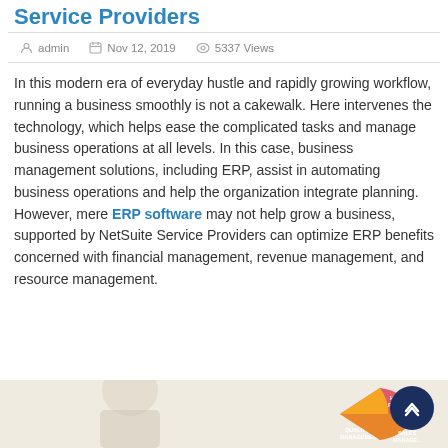Service Providers
admin   Nov 12, 2019   5337 Views
In this modern era of everyday hustle and rapidly growing workflow, running a business smoothly is not a cakewalk. Here intervenes the technology, which helps ease the complicated tasks and manage business operations at all levels. In this case, business management solutions, including ERP, assist in automating business operations and help the organization integrate planning. However, mere ERP software may not help grow a business, supported by NetSuite Service Providers can optimize ERP benefits concerned with financial management, revenue management, and resource management.
[Figure (photo): Partial view of a person and a colorful circular infographic with sections labeled Human Resources, Quality Management, Sales Management]